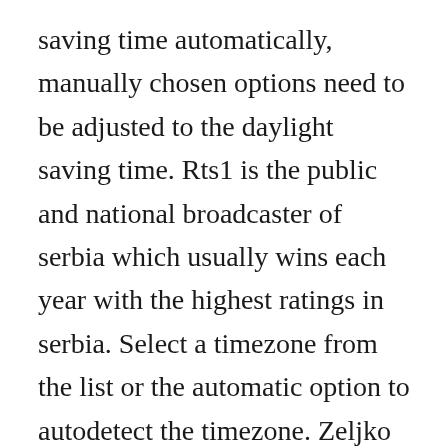saving time automatically, manually chosen options need to be adjusted to the daylight saving time. Rts1 is the public and national broadcaster of serbia which usually wins each year with the highest ratings in serbia. Select a timezone from the list or the automatic option to autodetect the timezone. Zeljko vasic prekasno audio 2008 hd by zeljko vasic. Forumi, mp3 download, domaca muzika, vesti iz zemlje i sveta, domaci filmovi i serije, galerije slika, online radio. Rts1 offers viewers political shows and debates and documentaries, international show...